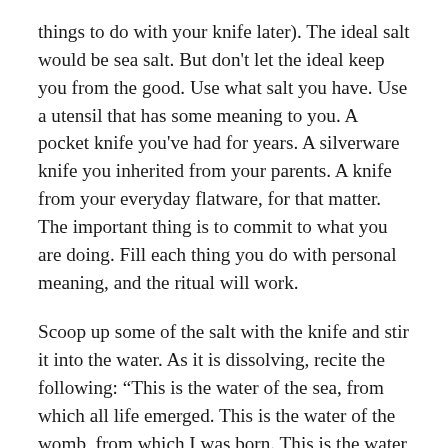things to do with your knife later). The ideal salt would be sea salt. But don't let the ideal keep you from the good. Use what salt you have. Use a utensil that has some meaning to you. A pocket knife you've had for years. A silverware knife you inherited from your parents. A knife from your everyday flatware, for that matter. The important thing is to commit to what you are doing. Fill each thing you do with personal meaning, and the ritual will work.
Scoop up some of the salt with the knife and stir it into the water. As it is dissolving, recite the following: “This is the water of the sea, from which all life emerged. This is the water of the womb, from which I was born. This is the water of my blood, that keeps me alive.” The more you can feel and believe those words, the better. It is totally okay to feel like you are pretending, but go as fully from pretending to believing as you can.